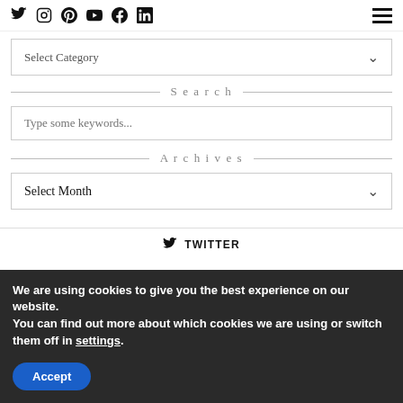Social icons: Twitter, Instagram, Pinterest, YouTube, Facebook, LinkedIn | Hamburger menu
Select Category
Search
Type some keywords...
Archives
Select Month
TWITTER
We are using cookies to give you the best experience on our website.
You can find out more about which cookies we are using or switch them off in settings.
Accept